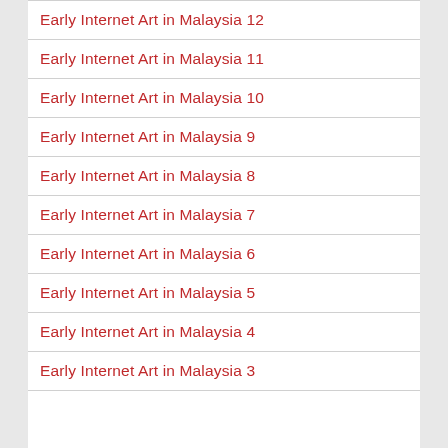Early Internet Art in Malaysia 12
Early Internet Art in Malaysia 11
Early Internet Art in Malaysia 10
Early Internet Art in Malaysia 9
Early Internet Art in Malaysia 8
Early Internet Art in Malaysia 7
Early Internet Art in Malaysia 6
Early Internet Art in Malaysia 5
Early Internet Art in Malaysia 4
Early Internet Art in Malaysia 3